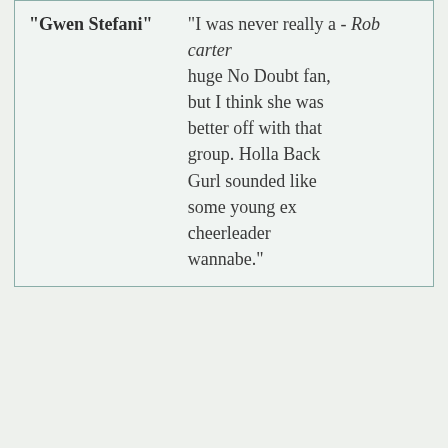| "Gwen Stefani" | "I was never really a - Rob carter huge No Doubt fan, but I think she was better off with that group. Holla Back Gurl sounded like some young ex cheerleader wannabe." |